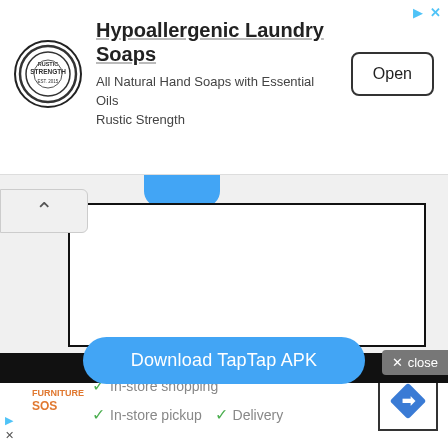[Figure (screenshot): Advertisement banner for Hypoallergenic Laundry Soaps by Rustic Strength with logo, title, subtitle, and Open button]
[Figure (screenshot): Mobile app UI showing a card with a blue rounded element at top, a chevron/back button, and a bordered white card area]
[Figure (screenshot): Blue rounded Download TapTap APK button]
Download PUBG Kr APK and OBB File of the Latest 2.0 Update.
[Figure (screenshot): Black bar at bottom of content area with close button overlay showing X close]
[Figure (screenshot): Bottom advertisement banner for Furniture SOS with checkmarks for In-store shopping, In-store pickup, Delivery and a diamond navigation icon]